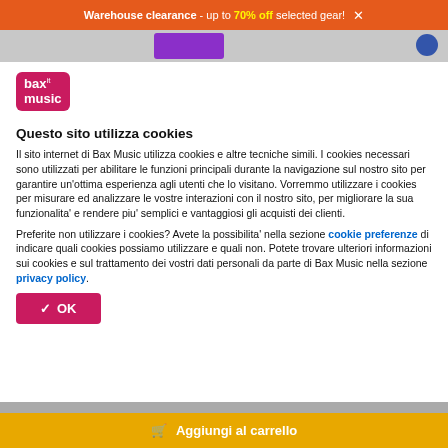Warehouse clearance - up to 70% off selected gear! ×
[Figure (logo): Bax Music logo — pink/magenta rounded rectangle with white text 'bax.it music']
Questo sito utilizza cookies
Il sito internet di Bax Music utilizza cookies e altre tecniche simili. I cookies necessari sono utilizzati per abilitare le funzioni principali durante la navigazione sul nostro sito per garantire un'ottima esperienza agli utenti che lo visitano. Vorremmo utilizzare i cookies per misurare ed analizzare le vostre interazioni con il nostro sito, per migliorare la sua funzionalita' e rendere piu' semplici e vantaggiosi gli acquisti dei clienti.
Preferite non utilizzare i cookies? Avete la possibilita' nella sezione cookie preferenze di indicare quali cookies possiamo utilizzare e quali non. Potete trovare ulteriori informazioni sui cookies e sul trattamento dei vostri dati personali da parte di Bax Music nella sezione privacy policy.
✓ OK
🛒 Aggiungi al carrello